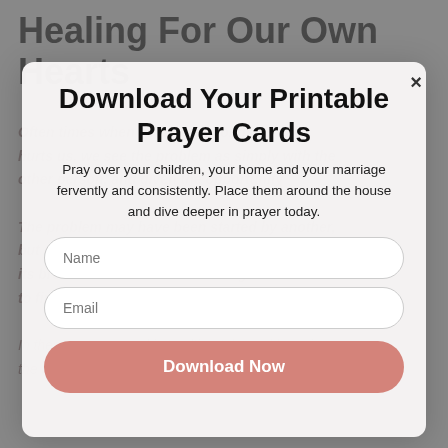Healing For Our Own Hearts
Often times when someone wrongs us or hurts us, we see the problem as simply with the other person, and given the opportunity...
The problem may have been started by another, but now our own hearts have been dragged into its brokenness and need a healing work in order to find true peace and restoration.
Download Your Printable Prayer Cards
Pray over your children, your home and your marriage fervently and consistently. Place them around the house and dive deeper in prayer today.
Name
Email
Download Now